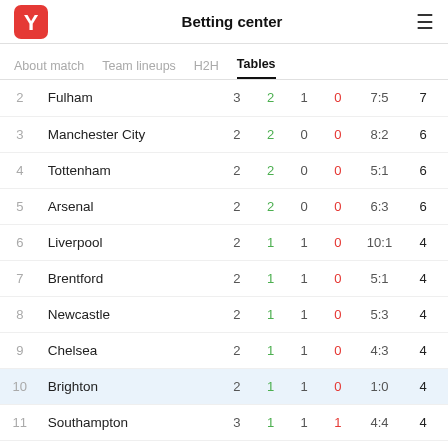Betting center
About match   Team lineups   H2H   Tables
| # | Team | P | W | D | L | Score | Pts |
| --- | --- | --- | --- | --- | --- | --- | --- |
| 2 | Fulham | 3 | 2 | 1 | 0 | 7:5 | 7 |
| 3 | Manchester City | 2 | 2 | 0 | 0 | 8:2 | 6 |
| 4 | Tottenham | 2 | 2 | 0 | 0 | 5:1 | 6 |
| 5 | Arsenal | 2 | 2 | 0 | 0 | 6:3 | 6 |
| 6 | Liverpool | 2 | 1 | 1 | 0 | 10:1 | 4 |
| 7 | Brentford | 2 | 1 | 1 | 0 | 5:1 | 4 |
| 8 | Newcastle | 2 | 1 | 1 | 0 | 5:3 | 4 |
| 9 | Chelsea | 2 | 1 | 1 | 0 | 4:3 | 4 |
| 10 | Brighton | 2 | 1 | 1 | 0 | 1:0 | 4 |
| 11 | Southampton | 3 | 1 | 1 | 1 | 4:4 | 4 |